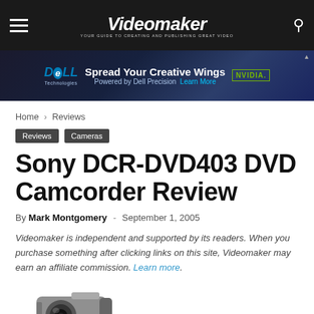Videomaker — YOUR GUIDE TO CREATING AND PUBLISHING GREAT VIDEO
[Figure (other): Dell Technologies advertisement banner: Spread Your Creative Wings, Powered by Dell Precision, Learn More, Nvidia logo]
Home › Reviews
Reviews  Cameras
Sony DCR-DVD403 DVD Camcorder Review
By Mark Montgomery - September 1, 2005
Videomaker is independent and supported by its readers. When you purchase something after clicking links on this site, Videomaker may earn an affiliate commission. Learn more.
[Figure (photo): Sony DCR-DVD403 DVD camcorder, silver and black, shown from front-left angle]